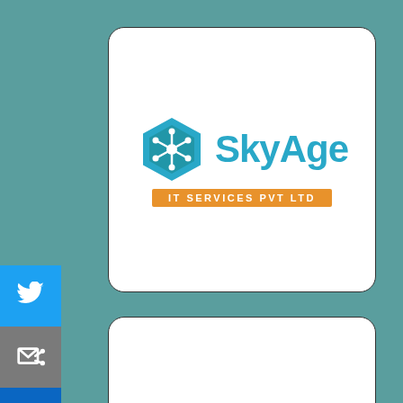[Figure (logo): SkyAge IT Services Pvt Ltd logo — blue hexagon network icon with 'SkyAge' in blue text and 'IT SERVICES PVT LTD' on an orange banner underneath, displayed on a white rounded card]
[Figure (logo): Adsorbtek logo — orange stylized text 'Adsorbtek' with a circular eye/target icon replacing the 'o', partially visible at bottom of page on a white rounded card]
[Figure (infographic): Social media share buttons sidebar: Twitter (blue bird icon), Email/share (grey envelope icon), LinkedIn (blue 'in' icon)]